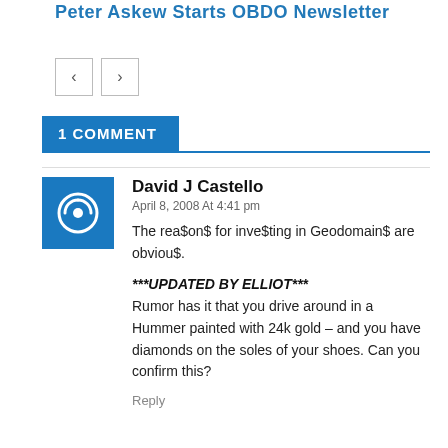Peter Askew Starts OBDO Newsletter
1 COMMENT
David J Castello
April 8, 2008 At 4:41 pm
The rea$on$ for inve$ting in Geodomain$ are obviou$.
***UPDATED BY ELLIOT***
Rumor has it that you drive around in a Hummer painted with 24k gold – and you have diamonds on the soles of your shoes. Can you confirm this?
Reply